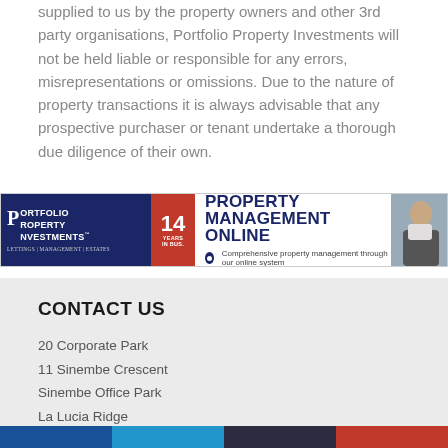supplied to us by the property owners and other 3rd party organisations, Portfolio Property Investments will not be held liable or responsible for any errors, misrepresentations or omissions. Due to the nature of property transactions it is always advisable that any prospective purchaser or tenant undertake a thorough due diligence of their own.
[Figure (infographic): Portfolio Property Investments banner advertisement showing company logo, '14 Years' badge, and 'PROPERTY MANAGEMENT ONLINE — Comprehensive property management through our online system' text with a person using a tablet device.]
CONTACT US
20 Corporate Park
11 Sinembe Crescent
Sinembe Office Park
La Lucia Ridge
Umhlanga, 4051
South Africa